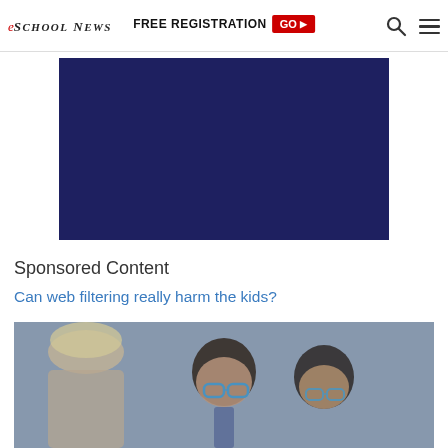eSchool News | FREE REGISTRATION GO
[Figure (other): Dark navy blue advertisement banner rectangle]
Sponsored Content
Can web filtering really harm the kids?
[Figure (photo): Photo of children looking at a screen, blurred background with a teacher visible from behind and two boys with glasses in foreground]